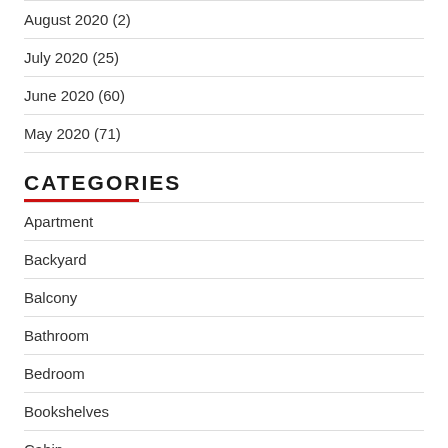August 2020 (2)
July 2020 (25)
June 2020 (60)
May 2020 (71)
CATEGORIES
Apartment
Backyard
Balcony
Bathroom
Bedroom
Bookshelves
Cabin
Corner Shelves